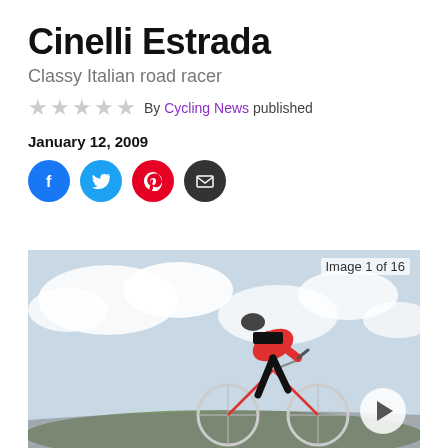Cinelli Estrada
Classy Italian road racer
By Cycling News published
January 12, 2009
[Figure (other): Social sharing buttons: Facebook, Twitter, Pinterest, Email]
[Figure (photo): A cyclist in a red jacket and black Specialized bibs riding a road bike against a cloudy sky. Image 1 of 16. A play button is visible in the bottom right.]